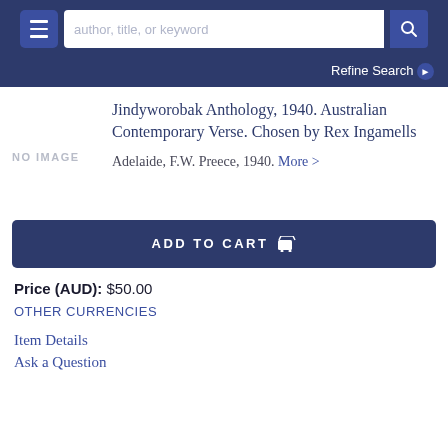author, title, or keyword
Refine Search
Jindyworobak Anthology, 1940. Australian Contemporary Verse. Chosen by Rex Ingamells
Adelaide, F.W. Preece, 1940. More >
ADD TO CART
Price (AUD): $50.00
OTHER CURRENCIES
Item Details
Ask a Question